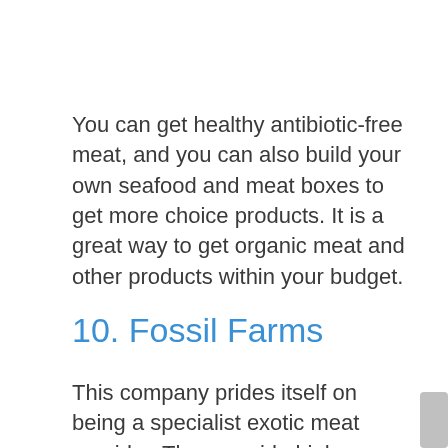You can get healthy antibiotic-free meat, and you can also build your own seafood and meat boxes to get more choice products. It is a great way to get organic meat and other products within your budget.
10. Fossil Farms
This company prides itself on being a specialist exotic meat provider. They provide high-quality, all-natural meats and farm-raised game. They have a carefully vetted network of independently owned ranches and farms and sell antibiotic, hormone, and